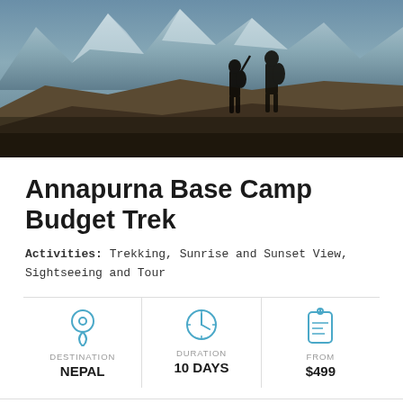[Figure (photo): Two hikers standing on a rocky ridge with dramatic mountain peaks and glaciers in the background, moody lighting]
Annapurna Base Camp Budget Trek
Activities: Trekking, Sunrise and Sunset View, Sightseeing and Tour
DESTINATION: NEPAL | DURATION: 10 DAYS | FROM: $499
TRIP DETAILS